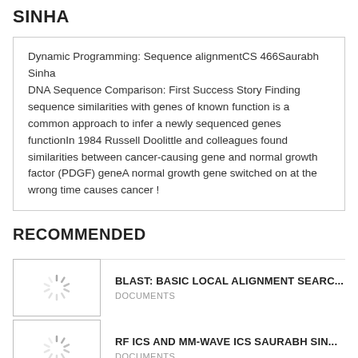SINHA
Dynamic Programming: Sequence alignmentCS 466Saurabh Sinha
DNA Sequence Comparison: First Success Story Finding sequence similarities with genes of known function is a common approach to infer a newly sequenced genes functionIn 1984 Russell Doolittle and colleagues found similarities between cancer-causing gene and normal growth factor (PDGF) geneA normal growth gene switched on at the wrong time causes cancer !
RECOMMENDED
[Figure (screenshot): Loading spinner thumbnail for BLAST document]
BLAST: BASIC LOCAL ALIGNMENT SEARC...
DOCUMENTS
[Figure (screenshot): Loading spinner thumbnail for RF ICS document]
RF ICS AND MM-WAVE ICS SAURABH SIN...
DOCUMENTS